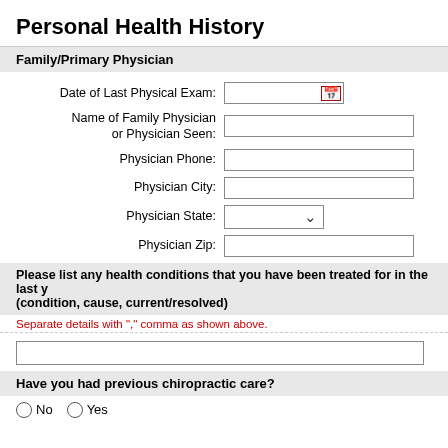Personal Health History
Family/Primary Physician
Date of Last Physical Exam:
Name of Family Physician or Physician Seen:
Physician Phone:
Physician City:
Physician State:
Physician Zip:
Please list any health conditions that you have been treated for in the last y (condition, cause, current/resolved)
Separate details with "," comma as shown above.
Have you had previous chiropractic care?
No   Yes